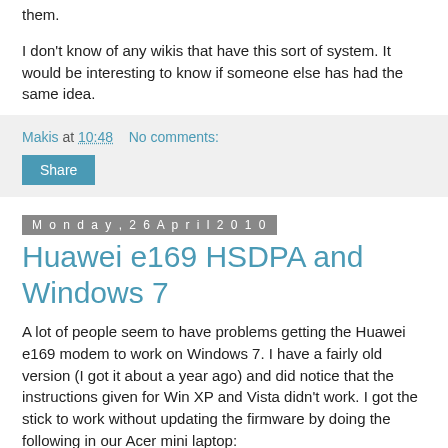them.
I don't know of any wikis that have this sort of system. It would be interesting to know if someone else has had the same idea.
Makis at 10:48   No comments:
Share
Monday, 26 April 2010
Huawei e169 HSDPA and Windows 7
A lot of people seem to have problems getting the Huawei e169 modem to work on Windows 7. I have a fairly old version (I got it about a year ago) and did notice that the instructions given for Win XP and Vista didn't work. I got the stick to work without updating the firmware by doing the following in our Acer mini laptop:
1. Boot the laptop without the device attached.